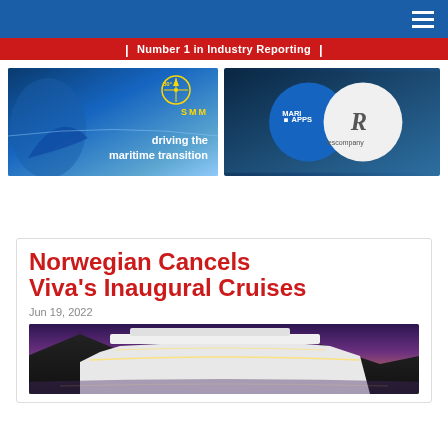Number 1 in Industry Reporting
[Figure (illustration): SMM maritime trade show advertisement - driving the maritime transition]
[Figure (logo): MariApps and Rescompany logos on dark blue background]
[Figure (infographic): Key Ship & Fleet Data download banner with 2023 badge, bullet points: Guests, Crew, Length, Width, Draft, Scrubber, Shore Power]
Norwegian Cancels Viva's Inaugural Cruises
Jun 19, 2022
[Figure (photo): Norwegian Viva cruise ship at dusk/night with mountains in background]